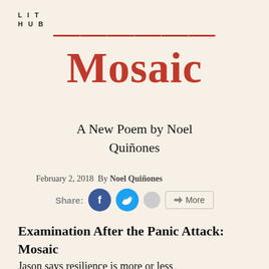LIT
HUB
Mosaic
A New Poem by Noel Quiñones
February 2, 2018  By Noel Quiñones
[Figure (other): Social share buttons: Facebook, Twitter, and More]
Examination After the Panic Attack: Mosaic
Jason says resilience is more or less